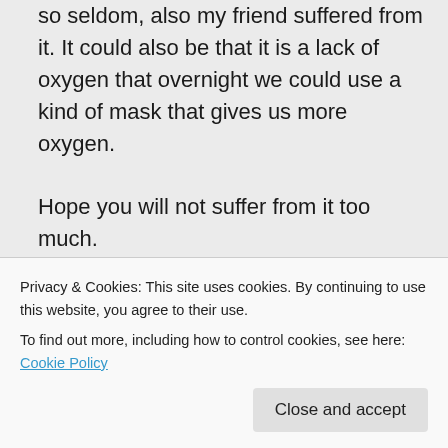so seldom, also my friend suffered from it. It could also be that it is a lack of oxygen that overnight we could use a kind of mask that gives us more oxygen.
Hope you will not suffer from it too much.
All the best my friend
Didi
★ Liked by 1 person
Privacy & Cookies: This site uses cookies. By continuing to use this website, you agree to their use.
To find out more, including how to control cookies, see here: Cookie Policy